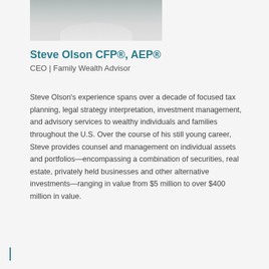[Figure (photo): Black and white professional headshot photo of Steve Olson, showing the lower portion (collar and shirt area visible), cropped at the top of the page.]
Steve Olson CFP®, AEP®
CEO | Family Wealth Advisor
Steve Olson's experience spans over a decade of focused tax planning, legal strategy interpretation, investment management, and advisory services to wealthy individuals and families throughout the U.S. Over the course of his still young career, Steve provides counsel and management on individual assets and portfolios—encompassing a combination of securities, real estate, privately held businesses and other alternative investments—ranging in value from $5 million to over $400 million in value.